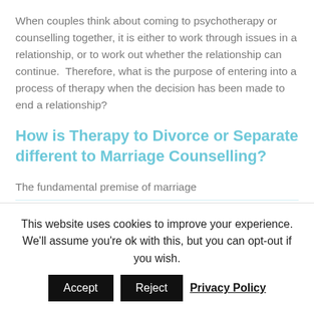When couples think about coming to psychotherapy or counselling together, it is either to work through issues in a relationship, or to work out whether the relationship can continue.  Therefore, what is the purpose of entering into a process of therapy when the decision has been made to end a relationship?
How is Therapy to Divorce or Separate different to Marriage Counselling?
The fundamental premise of marriage
This website uses cookies to improve your experience. We'll assume you're ok with this, but you can opt-out if you wish.